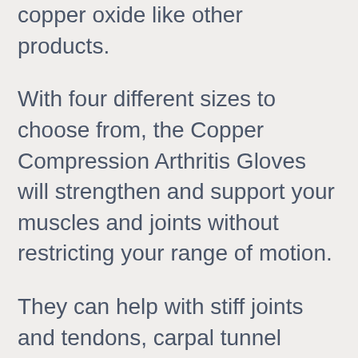copper oxide like other products.
With four different sizes to choose from, the Copper Compression Arthritis Gloves will strengthen and support your muscles and joints without restricting your range of motion.
They can help with stiff joints and tendons, carpal tunnel syndrome, arthritis and other related conditions.
Ideal for men and women, these arthritis gloves are made with comfortable, high-quality fabric and promises to retain their function over time.